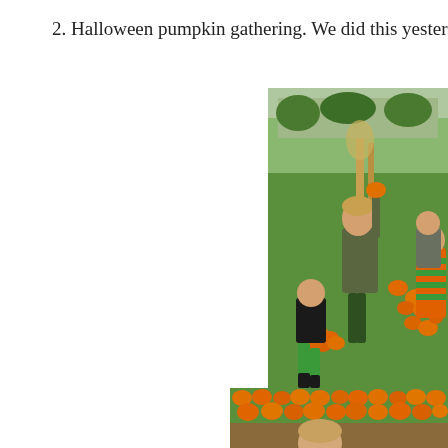2. Halloween pumpkin gathering. We did this yesterday:
[Figure (photo): Children picking pumpkins in a field. A boy in camouflage jacket holds up a small pumpkin, another child in black jacket and green trousers bends over pumpkins on the left, a girl in orange and green striped costume stands on the right. Many orange pumpkins scattered on grass with corn stalk bundles in the background.]
[Figure (photo): Close-up of many orange pumpkins arranged in rows on grass, with a child's head visible in the lower portion of the image.]